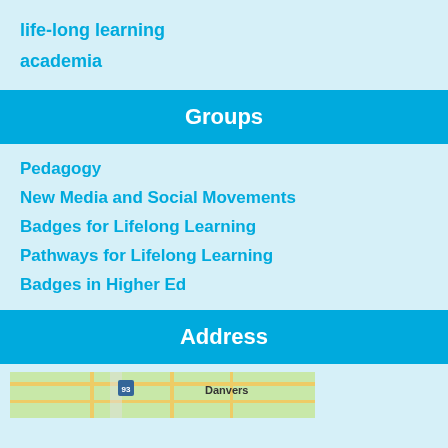life-long learning
academia
Groups
Pedagogy
New Media and Social Movements
Badges for Lifelong Learning
Pathways for Lifelong Learning
Badges in Higher Ed
Address
[Figure (map): Map showing Danvers area with roads and highway 93]